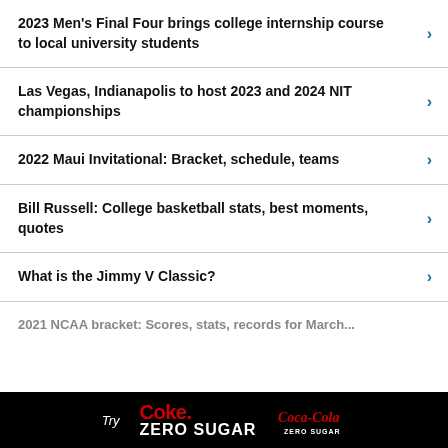2023 Men's Final Four brings college internship course to local university students
Las Vegas, Indianapolis to host 2023 and 2024 NIT championships
2022 Maui Invitational: Bracket, schedule, teams
Bill Russell: College basketball stats, best moments, quotes
What is the Jimmy V Classic?
2021 NCAA bracket: Scores, stats, records for March...
[Figure (advertisement): Coca-Cola Zero Sugar advertisement banner. Black background with 'Try Coke Zero Sugar' and Coca-Cola Zero Sugar logo in red and white.]